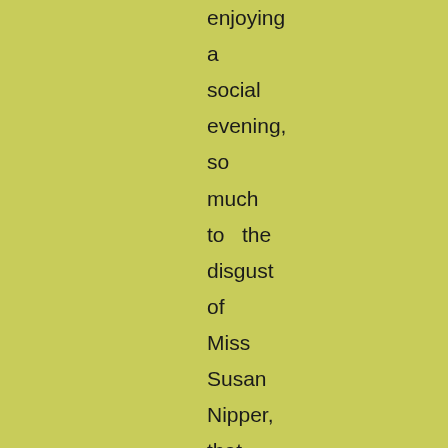enjoying a social evening, so much to the disgust of Miss Susan Nipper, that that young lady embraced every opportunity